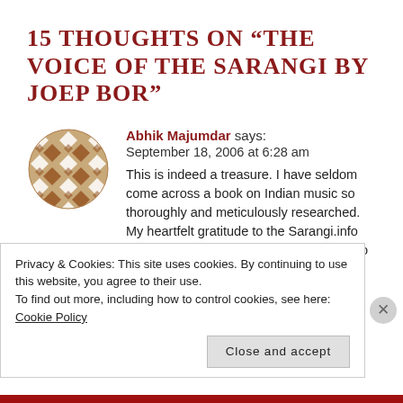15 THOUGHTS ON “THE VOICE OF THE SARANGI BY JOEP BOR”
[Figure (illustration): Circular avatar icon with brown and white geometric diamond/rhombus pattern on a white background]
Abhik Majumdar says:
September 18, 2006 at 6:28 am
This is indeed a treasure. I have seldom come across a book on Indian music so thoroughly and meticulously researched. My heartfelt gratitude to the Sarangi.info team for making it so readily accessible to us.
Privacy & Cookies: This site uses cookies. By continuing to use this website, you agree to their use.
To find out more, including how to control cookies, see here: Cookie Policy
Close and accept